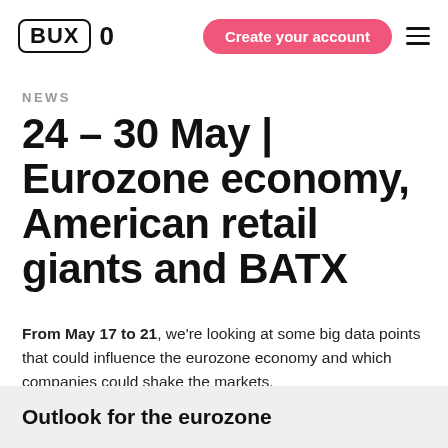BUX 0 | Create your account
NEWS
24 – 30 May | Eurozone economy, American retail giants and BATX
From May 17 to 21, we're looking at some big data points that could influence the eurozone economy and which companies could shake the markets.
Outlook for the eurozone